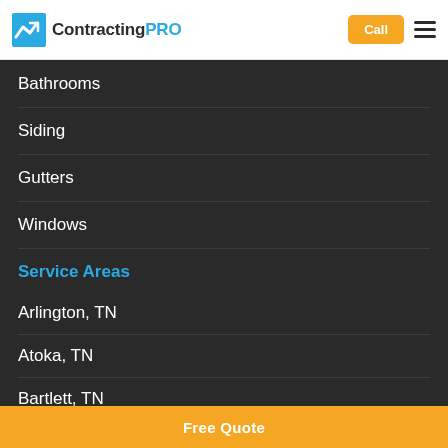Contracting PRO — Call | Menu
Bathrooms
Siding
Gutters
Windows
Service Areas
Arlington, TN
Atoka, TN
Bartlett, TN
Brighton, TN
Free Quote